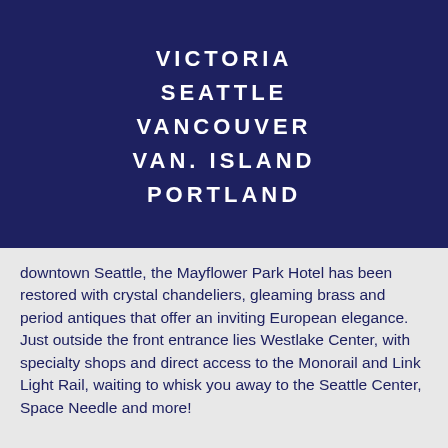VICTORIA
SEATTLE
VANCOUVER
VAN. ISLAND
PORTLAND
downtown Seattle, the Mayflower Park Hotel has been restored with crystal chandeliers, gleaming brass and period antiques that offer an inviting European elegance. Just outside the front entrance lies Westlake Center, with specialty shops and direct access to the Monorail and Link Light Rail, waiting to whisk you away to the Seattle Center, Space Needle and more!